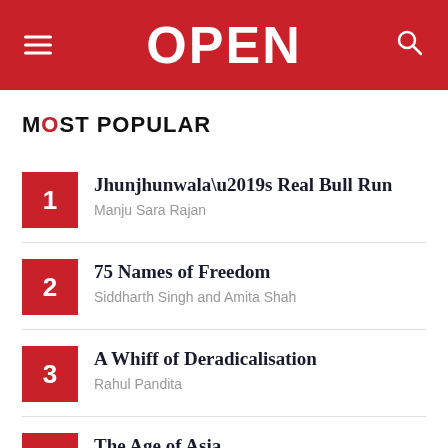OPEN
MOST POPULAR
Jhunjhunwala’s Real Bull Run | Manju Sara Rajan
75 Names of Freedom | Siddharth Singh and Amita Shah
A Whiff of Deradicalisation | Rahul Pandita
The Age of Asia | Minhaz Merchant